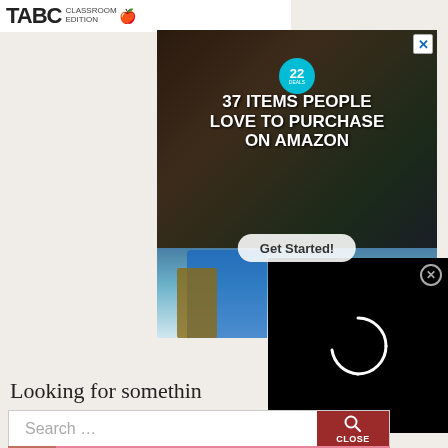[Figure (screenshot): TABC Classroom Edition logo partial at top]
[Figure (screenshot): Advertisement: 37 Items People Love to Purchase on Amazon with close button X, badge showing 22, kitchen items background, Get Started button]
[Figure (screenshot): Video player showing loading spinner on black background with X close button, overlapping a person in blue shirt holding items]
Looking for somethin
[Figure (screenshot): Search bar with placeholder 'Search ...' and red CLOSE button with magnifying glass icon]
[Figure (screenshot): Victoria's Secret advertisement banner: woman with curly hair, VS logo, SHOP THE COLLECTION text, SHOP NOW button]